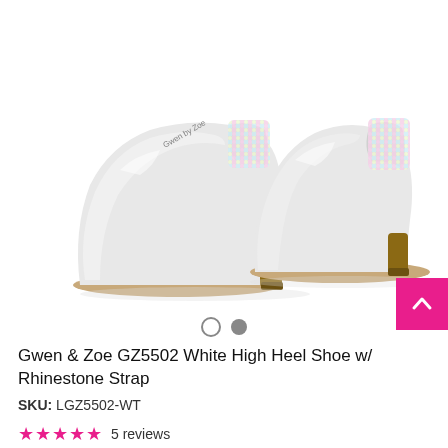[Figure (photo): Two white patent leather high heel shoes (pumps) with rhinestone/holographic sequined straps visible at the back, shown side by side on a white background. The shoes have a chunky heel and closed toe. Brand label 'Gwen by Zoe' visible on insole.]
Gwen & Zoe GZ5502 White High Heel Shoe w/ Rhinestone Strap
SKU: LGZ5502-WT
★★★★★ 5 reviews